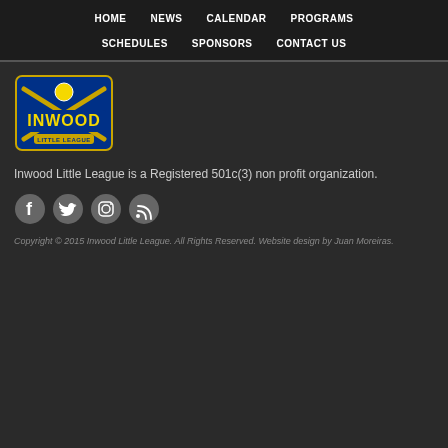HOME  NEWS  CALENDAR  PROGRAMS  SCHEDULES  SPONSORS  CONTACT US
[Figure (logo): Inwood Little League logo with crossed baseball bats and softball, blue and yellow colors]
Inwood Little League is a Registered 501c(3) non profit organization.
[Figure (infographic): Social media icons: Facebook, Twitter, Instagram, RSS feed]
Copyright © 2015 Inwood Little League. All Rights Reserved. Website design by Juan Moreiras.